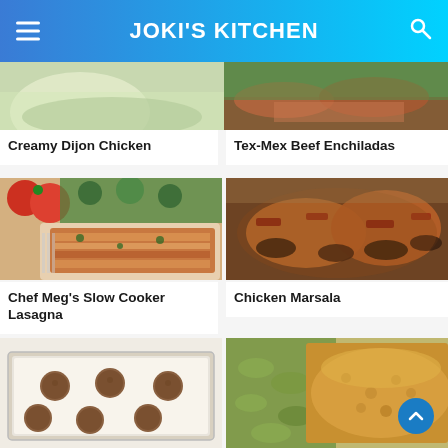JOKI'S KITCHEN
[Figure (photo): Partial top view of Creamy Dijon Chicken dish with green herbs]
[Figure (photo): Partial top view of Tex-Mex Beef Enchiladas with green salad]
Creamy Dijon Chicken
Tex-Mex Beef Enchiladas
[Figure (photo): Chef Meg's Slow Cooker Lasagna on a plate with tomatoes in background]
[Figure (photo): Chicken Marsala with mushrooms and bacon]
Chef Meg's Slow Cooker Lasagna
Chicken Marsala
[Figure (photo): Meatballs on a baking sheet lined with parchment paper]
[Figure (photo): Breaded chicken with green pasta side dish]